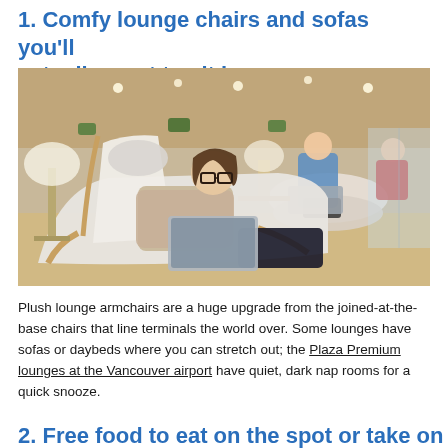1. Comfy lounge chairs and sofas you'll actually want to sit in
[Figure (photo): A woman reclines in a modern white lounge chair working on a laptop in an airport lounge. Behind her, two other people sit in similar chairs. The lounge features warm wood accents, table lamps, and large windows.]
Plush lounge armchairs are a huge upgrade from the joined-at-the-base chairs that line terminals the world over. Some lounges have sofas or daybeds where you can stretch out; the Plaza Premium lounges at the Vancouver airport have quiet, dark nap rooms for a quick snooze.
2. Free food to eat on the spot or take on